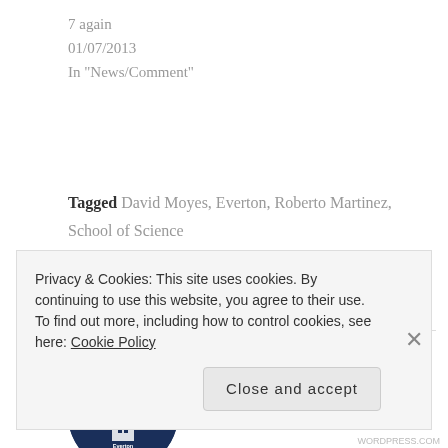7 again
01/07/2013
In "News/Comment"
Tagged David Moyes, Everton, Roberto Martinez, School of Science
[Figure (logo): Everton Football Club circular logo with dark navy blue background and club crest illustration]
PUBLISHED BY DANIEL
View all posts by Daniel
Privacy & Cookies: This site uses cookies. By continuing to use this website, you agree to their use.
To find out more, including how to control cookies, see here: Cookie Policy
WORDPRESS.COM